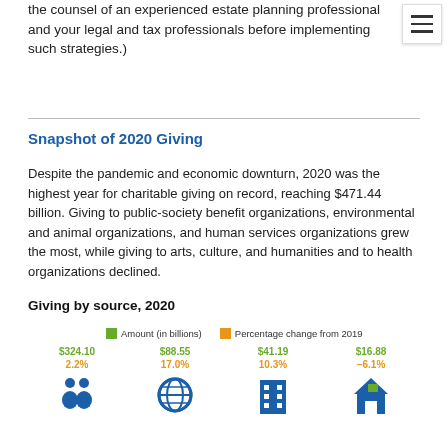the counsel of an experienced estate planning professional and your legal and tax professionals before implementing such strategies.)
Snapshot of 2020 Giving
Despite the pandemic and economic downturn, 2020 was the highest year for charitable giving on record, reaching $471.44 billion. Giving to public-society benefit organizations, environmental and animal organizations, and human services organizations grew the most, while giving to arts, culture, and humanities and to health organizations declined.
Giving by source, 2020
[Figure (infographic): Infographic showing giving by source in 2020. Legend: green square = Amount (in billions), orange square = Percentage change from 2019. Four columns showing: $324.10 / 2.2% (individuals icon), $88.55 / 17.0% (foundations/globe icon), $41.19 / 10.3% (corporations/building icon), $16.88 / -6.1% (bequests/house icon).]